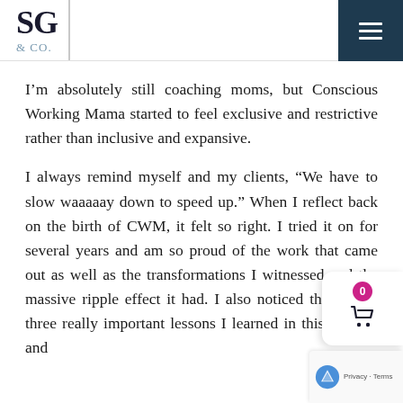SG & CO.
I’m absolutely still coaching moms, but Conscious Working Mama started to feel exclusive and restrictive rather than inclusive and expansive.
I always remind myself and my clients, “We have to slow waaaaay down to speed up.” When I reflect back on the birth of CWM, it felt so right. I tried it on for several years and am so proud of the work that came out as well as the transformations I witnessed and the massive ripple effect it had. I also noticed there were three really important lessons I learned in this journey and